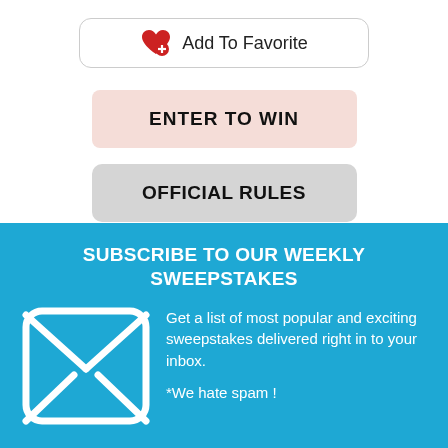[Figure (other): Add To Favorite button with heart icon and border]
ENTER TO WIN
OFFICIAL RULES
SUBSCRIBE TO OUR WEEKLY SWEEPSTAKES
[Figure (illustration): White envelope icon on blue background]
Get a list of most popular and exciting sweepstakes delivered right in to your inbox.
*We hate spam !